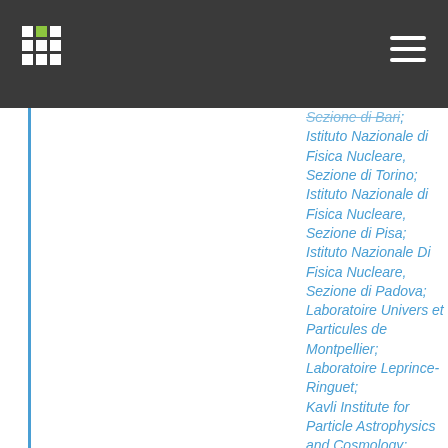Sezione di Bari; Istituto Nazionale di Fisica Nucleare, Sezione di Torino; Istituto Nazionale di Fisica Nucleare, Sezione di Pisa; Istituto Nazionale Di Fisica Nucleare, Sezione di Padova; Laboratoire Univers et Particules de Montpellier; Laboratoire Leprince-Ringuet; Kavli Institute for Particle Astrophysics and Cosmology; Santa